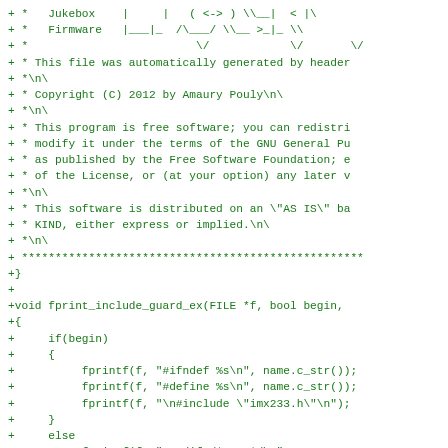+ *   Jukebox    |     |   ( <-> ) \__|  < |\
+ *   Firmware   |___|_  /\\___/ \\__ >_|_ \\
+ *                         \/            \/       \/
+ * This file was automatically generated by header
+ *\n\
+ * Copyright (C) 2012 by Amaury Pouly\n\
+ *\n\
+ * This program is free software; you can redistri
+ * modify it under the terms of the GNU General Pu
+ * as published by the Free Software Foundation; e
+ * of the License, or (at your option) any later v
+ *\n\
+ * This software is distributed on an \"AS IS\" ba
+ * KIND, either express or implied.\n\
+ *\n\
+ ***************************************************
+}
+
+void fprint_include_guard_ex(FILE *f, bool begin,
+{
+     if(begin)
+     {
+          fprintf(f, "#ifndef %s\n", name.c_str());
+          fprintf(f, "#define %s\n", name.c_str());
+          fprintf(f, "\n#include \"imx233.h\"\n");
+     }
+     else
+          fprintf(f, "#endif /* %s */\n", name.c_str
+}
+